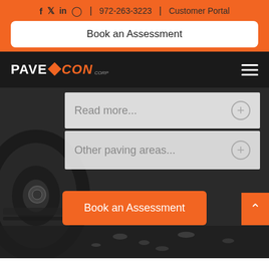f  y  in  [instagram]  |  972-263-3223  |  Customer Portal
Book an Assessment
[Figure (logo): PaveCon company logo with orange diamond graphic and white/orange text on black navigation bar]
Read more...
Other paving areas...
Book an Assessment
[Figure (photo): Dark background photo showing heavy paving equipment tire and asphalt/gravel surface]